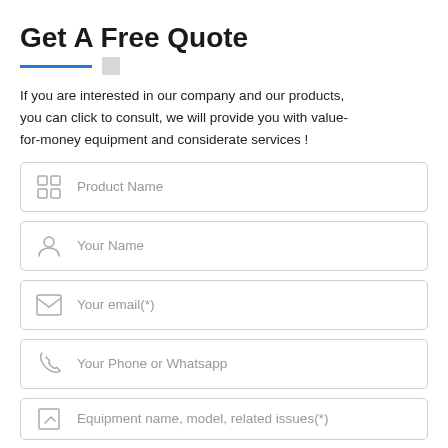Get A Free Quote
If you are interested in our company and our products, you can click to consult, we will provide you with value-for-money equipment and considerate services !
Product Name
Your Name
Your email(*)
Your Phone or Whatsapp
Equipment name, model, related issues(*)